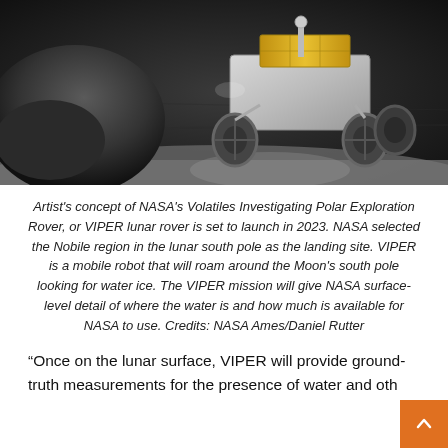[Figure (photo): Artist's concept rendering of NASA's VIPER lunar rover on the dark lunar surface near the south pole. The rover has a boxy metallic body with large wheels, a solar panel, and is shown on grey rocky terrain with a large rock mound to the left.]
Artist's concept of NASA's Volatiles Investigating Polar Exploration Rover, or VIPER lunar rover is set to launch in 2023. NASA selected the Nobile region in the lunar south pole as the landing site. VIPER is a mobile robot that will roam around the Moon's south pole looking for water ice. The VIPER mission will give NASA surface-level detail of where the water is and how much is available for NASA to use. Credits: NASA Ames/Daniel Rutter
“Once on the lunar surface, VIPER will provide ground-truth measurements for the presence of water and oth